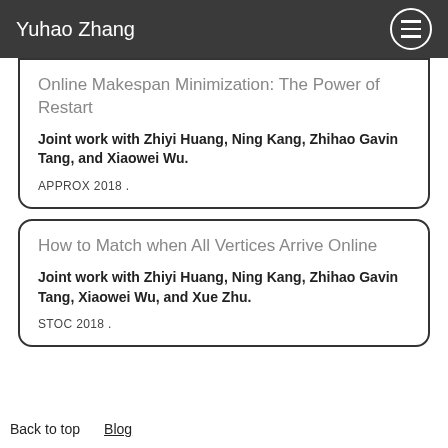Yuhao Zhang
Online Makespan Minimization: The Power of Restart
Joint work with Zhiyi Huang, Ning Kang, Zhihao Gavin Tang, and Xiaowei Wu.
APPROX 2018 .
How to Match when All Vertices Arrive Online
Joint work with Zhiyi Huang, Ning Kang, Zhihao Gavin Tang, Xiaowei Wu, and Xue Zhu.
STOC 2018 .
Back to top   Blog